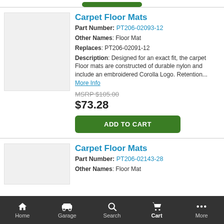[Figure (photo): Product image placeholder (gray rectangle) for first Carpet Floor Mats listing]
Carpet Floor Mats
Part Number: PT206-02093-12
Other Names: Floor Mat
Replaces: PT206-02091-12
Description: Designed for an exact fit, the carpet Floor mats are constructed of durable nylon and include an embroidered Corolla Logo. Retention... More Info
MSRP $105.00
$73.28
ADD TO CART
[Figure (photo): Product image placeholder (gray rectangle) for second Carpet Floor Mats listing]
Carpet Floor Mats
Part Number: PT206-02143-28
Other Names: Floor Mat
Home   Garage   Search   Cart   More